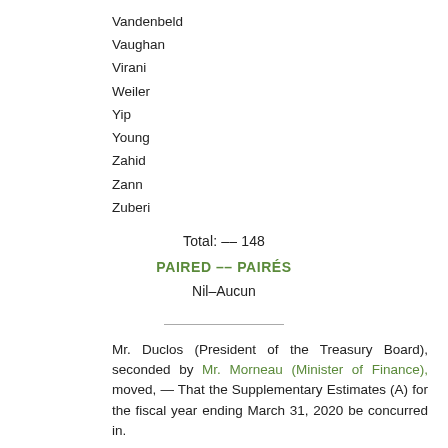Vandenbeld
Vaughan
Virani
Weiler
Yip
Young
Zahid
Zann
Zuberi
Total: -- 148
PAIRED -- PAIRÉS
Nil–Aucun
Mr. Duclos (President of the Treasury Board), seconded by Mr. Morneau (Minister of Finance), moved, — That the Supplementary Estimates (A) for the fiscal year ending March 31, 2020 be concurred in.
The question was put on the motion and it was agreed to on the following division: